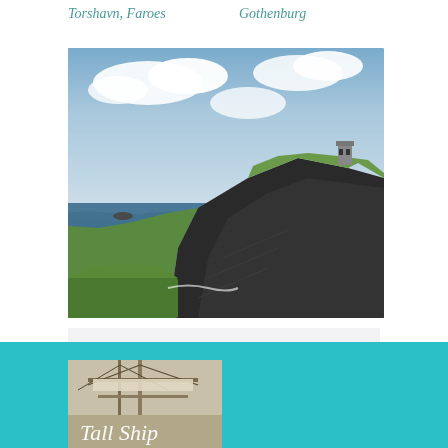Torshavn, Faroes
Gothenburg
[Figure (photo): Dramatic coastal cliffs with rocky face dropping to ocean, green grass on top, a stone tower on the right hilltop, cloudy blue sky]
From
€2000.00
MORE DETAILS
[Figure (photo): Tall ship mast and rigging visible at bottom of teal banner, partial text 'Tall Ship' visible]